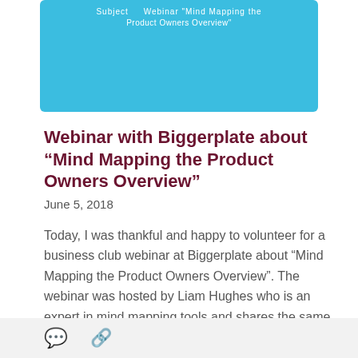[Figure (screenshot): Blue banner/header image for a webinar about Mind Mapping the Product Owners Overview, with white text partially visible at top]
Webinar with Biggerplate about “Mind Mapping the Product Owners Overview”
June 5, 2018
Today, I was thankful and happy to volunteer for a business club webinar at Biggerplate about “Mind Mapping the Product Owners Overview”. The webinar was hosted by Liam Hughes who is an expert in mind mapping tools and shares the same passion in mindmapping like I do. Liam contacted me some weeks ago due my … More